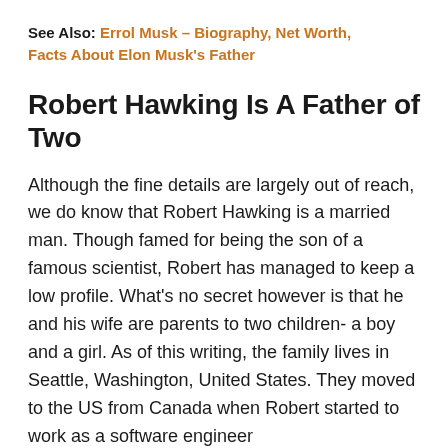See Also: Errol Musk – Biography, Net Worth, Facts About Elon Musk's Father
Robert Hawking Is A Father of Two
Although the fine details are largely out of reach, we do know that Robert Hawking is a married man. Though famed for being the son of a famous scientist, Robert has managed to keep a low profile. What's no secret however is that he and his wife are parents to two children- a boy and a girl. As of this writing, the family lives in Seattle, Washington, United States. They moved to the US from Canada when Robert started to work as a software engineer